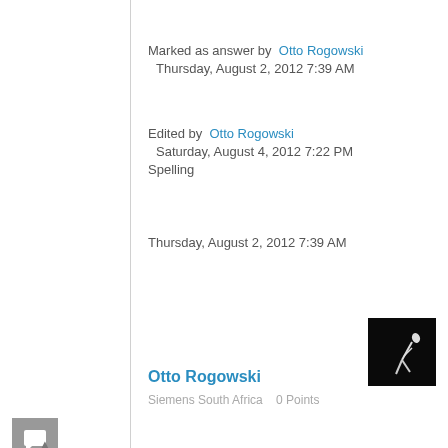Marked as answer by  Otto Rogowski  Thursday, August 2, 2012 7:39 AM
Edited by  Otto Rogowski  Saturday, August 4, 2012 7:22 PM Spelling
Thursday, August 2, 2012 7:39 AM
[Figure (photo): Small dark avatar image of Otto Rogowski, dark background with a light figure]
Otto Rogowski
Siemens South Africa   0 Points
[Figure (other): Grey square icon with a speech/comment symbol]
▲
0